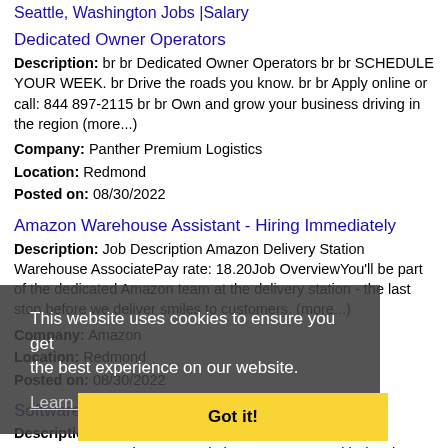Seattle, Washington Jobs |Salary
Dedicated Owner Operators
Description: br br Dedicated Owner Operators br br SCHEDULE YOUR WEEK. br Drive the roads you know. br br Apply online or call: 844 897-2115 br br Own and grow your business driving in the region (more...)
Company: Panther Premium Logistics
Location: Redmond
Posted on: 08/30/2022
Amazon Warehouse Assistant - Hiring Immediately
Description: Job Description Amazon Delivery Station Warehouse AssociatePay rate: 18.20Job OverviewYou'll be part of the dedicated Amazon team at the delivery station - the last stop before we deliver smiles to customers. (more...)
Company: Amazon
Location: Redmond
Posted on: 08/30/2022
Software Test Engineer - Video Games
Description: SOFTWARE TEST ENGINEER - Video GamesnnAt Experis Game Solutions, we partner with developers and publishers of video games on all platforms to improve testing
This website uses cookies to ensure you get the best experience on our website.
Learn more
Got it!